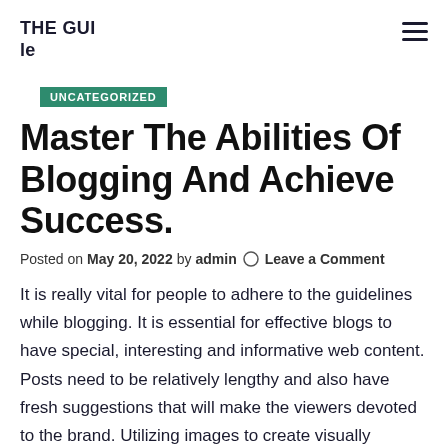THE GUI le
UNCATEGORIZED
Master The Abilities Of Blogging And Achieve Success.
Posted on May 20, 2022 by admin  Leave a Comment
It is really vital for people to adhere to the guidelines while blogging. It is essential for effective blogs to have special, interesting and informative web content. Posts need to be relatively lengthy and also have fresh suggestions that will make the viewers devoted to the brand. Utilizing images to create visually attractive blog posts will also